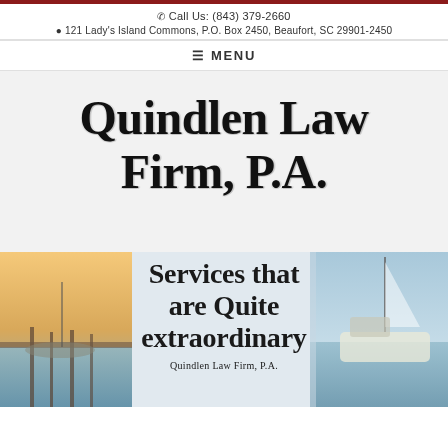Call Us: (843) 379-2660
121 Lady's Island Commons, P.O. Box 2450, Beaufort, SC 29901-2450
☰ MENU
[Figure (logo): Quindlen Law Firm, P.A. logo in decorative serif/sketch typeface]
[Figure (photo): Hero image of a marina with boats at dusk, overlaid with text: 'Services that are Quite extraordinary']